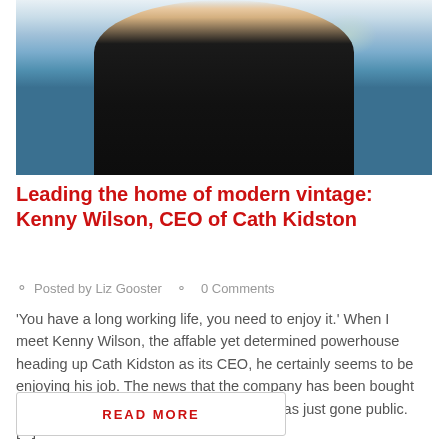[Figure (photo): Photo of Kenny Wilson, CEO of Cath Kidston, wearing a dark blazer over a checked shirt, with a decorative illustrated London background.]
Leading the home of modern vintage: Kenny Wilson, CEO of Cath Kidston
Posted by Liz Gooster   0 Comments
'You have a long working life, you need to enjoy it.' When I meet Kenny Wilson, the affable yet determined powerhouse heading up Cath Kidston as its CEO, he certainly seems to be enjoying his job. The news that the company has been bought out by private equity group Barings Asia has just gone public. [...]
READ MORE